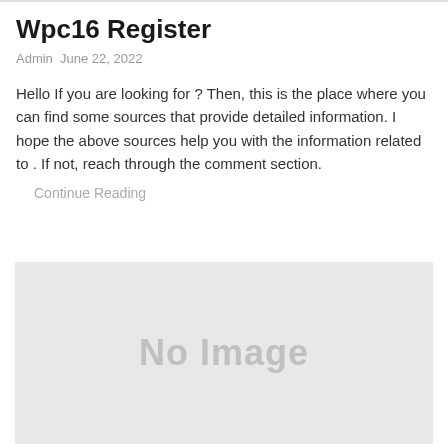Wpc16 Register
Admin  June 22, 2022
Hello If you are looking for ? Then, this is the place where you can find some sources that provide detailed information. I hope the above sources help you with the information related to . If not, reach through the comment section.
Continue Reading
[Figure (other): No Image placeholder block with light gray background and 'No Image' text in gray]